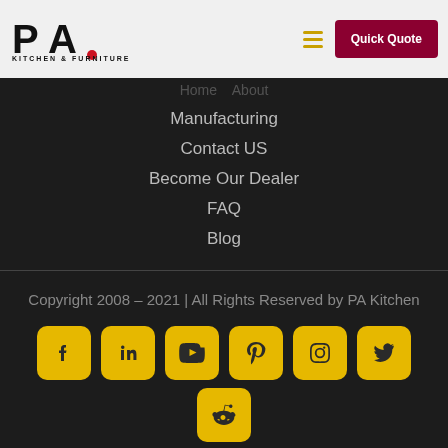[Figure (logo): PA Kitchen & Furniture logo with stylized PA letters and red dot]
[Figure (other): Hamburger menu icon with three yellow lines]
Quick Quote
Manufacturing
Contact US
Become Our Dealer
FAQ
Blog
Copyright 2008 – 2021 | All Rights Reserved by PA Kitchen
[Figure (other): Social media icons: Facebook, LinkedIn, YouTube, Pinterest, Instagram, Twitter, Reddit — gold rounded square buttons]